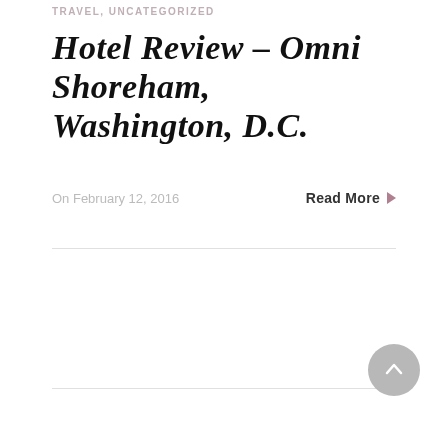TRAVEL, UNCATEGORIZED
Hotel Review – Omni Shoreham, Washington, D.C.
On February 12, 2016
Read More